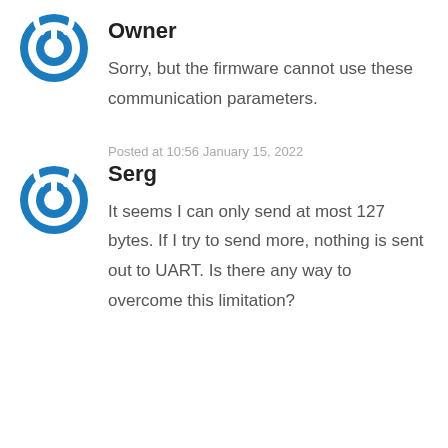[Figure (logo): Blue power button icon - circular with power symbol, used as user avatar]
Owner
Sorry, but the firmware cannot use these communication parameters.
Posted at 10:56 January 15, 2022
[Figure (logo): Blue power button icon - circular with power symbol, used as user avatar]
Serg
It seems I can only send at most 127 bytes. If I try to send more, nothing is sent out to UART. Is there any way to overcome this limitation?